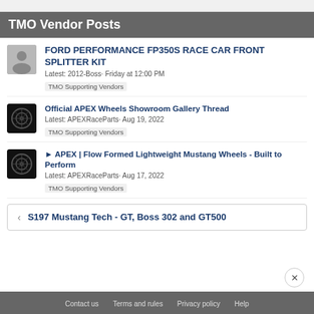TMO Vendor Posts
FORD PERFORMANCE FP350S RACE CAR FRONT SPLITTER KIT
Latest: 2012-Boss· Friday at 12:00 PM
TMO Supporting Vendors
Official APEX Wheels Showroom Gallery Thread
Latest: APEXRaceParts· Aug 19, 2022
TMO Supporting Vendors
► APEX | Flow Formed Lightweight Mustang Wheels - Built to Perform
Latest: APEXRaceParts· Aug 17, 2022
TMO Supporting Vendors
< S197 Mustang Tech - GT, Boss 302 and GT500
Contact us   Terms and rules   Privacy policy   Help